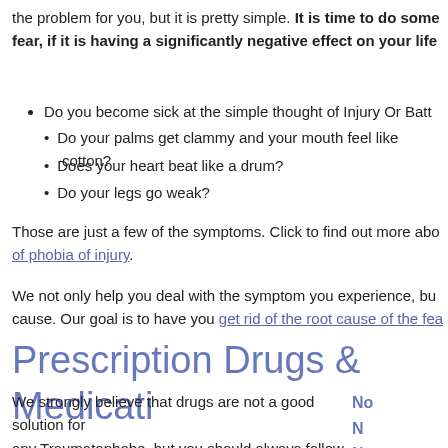the problem for you, but it is pretty simple. It is time to do something about this fear, if it is having a significantly negative effect on your life
Do you become sick at the simple thought of Injury Or Batt...
Do your palms get clammy and your mouth feel like cotton?
Does your heart beat like a drum?
Do your legs go weak?
Those are just a few of the symptoms. Click to find out more about... of phobia of injury.
We not only help you deal with the symptom you experience, bu... cause. Our goal is to have you get rid of the root cause of the fea...
Prescription Drugs & Medicati...
We strongly believe that drugs are not a good solution for any Traumatophobe, but you should always follow your physician's advice with regard to drugs/meds and Phobia of Injury. Pills might help you cope with your Phobia Of Injury bu...